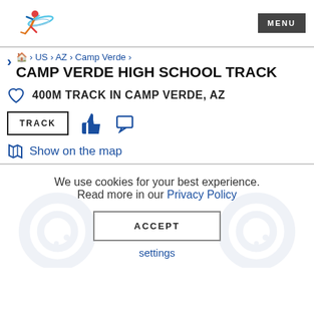MENU
🏠 > US > AZ > Camp Verde >
CAMP VERDE HIGH SCHOOL TRACK
400M TRACK IN CAMP VERDE, AZ
TRACK
Show on the map
We use cookies for your best experience. Read more in our Privacy Policy
ACCEPT
settings